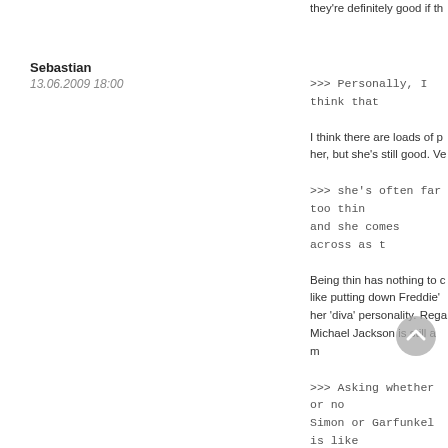they're definitely good if th
Sebastian
13.06.2009 18:00
>>> Personally, I think that
I think there are loads of p her, but she's still good. Ve
>>> she's often far too thin and she comes across as t
Being thin has nothing to c like putting down Freddie' her 'diva' personality. Rega Michael Jackson is still a m
>>> Asking whether or no Simon or Garfunkel is like batsman is as good as Brac some rookie batter is as go
The difference is, Melanie anyway, if you pick a profe as Bradman, it doesn't ma